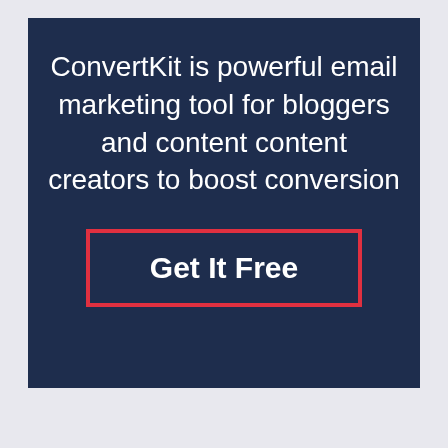ConvertKit is powerful email marketing tool for bloggers and content content creators to boost conversion
Get It Free